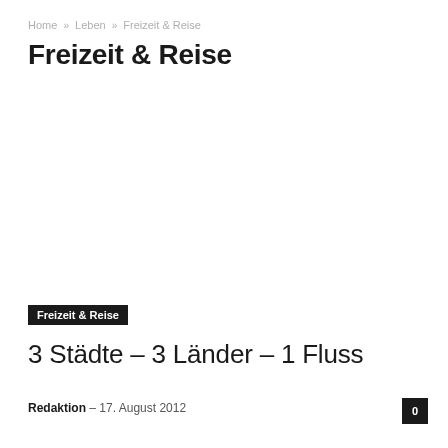Home » Leben » Freizeit & Reise
Freizeit & Reise
Freizeit & Reise
3 Städte – 3 Länder – 1 Fluss
Redaktion – 17. August 2012